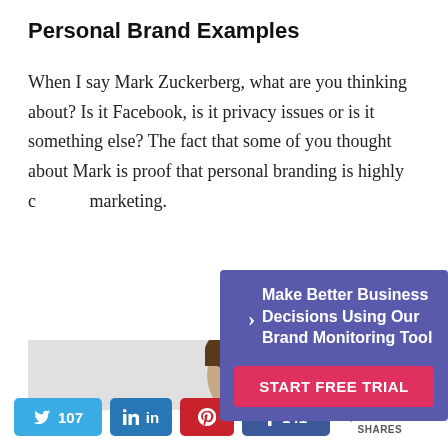Personal Brand Examples
When I say Mark Zuckerberg, what are you thinking about? Is it Facebook, is it privacy issues or is it something else? The fact that some of you thought about Mark is proof that personal branding is highly c[overed in] marketing.
[Figure (infographic): Ad overlay with purple background showing text 'Make Better Business Decisions Using Our Brand Monitoring Tool' with a right-arrow icon and a red 'START FREE TRIAL' button]
[Figure (photo): Partial photo of a person's head with brown hair, shown from about chin to top of head, on a light gray background]
107  in  [pinterest icon]  f 141  < 248 SHARES